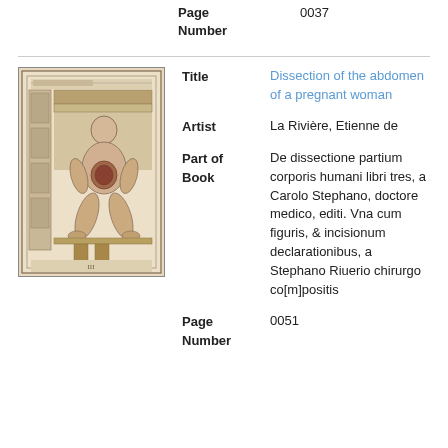Page Number
0037
[Figure (illustration): Historical engraving showing a seated figure with exposed abdomen, depicting a dissection of a pregnant woman, from a 16th century anatomical book.]
Title
Dissection of the abdomen of a pregnant woman
Artist
La Rivière, Etienne de
Part of Book
De dissectione partium corporis humani libri tres, a Carolo Stephano, doctore medico, editi. Vna cum figuris, & incisionum declarationibus, a Stephano Riuerio chirurgo co[m]positis
Page Number
0051